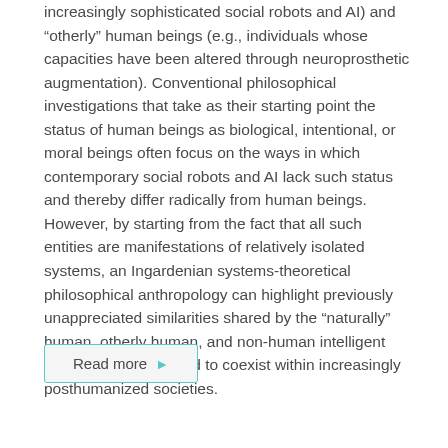increasingly sophisticated social robots and AI) and “otherly” human beings (e.g., individuals whose capacities have been altered through neuroprosthetic augmentation). Conventional philosophical investigations that take as their starting point the status of human beings as biological, intentional, or moral beings often focus on the ways in which contemporary social robots and AI lack such status and thereby differ radically from human beings. However, by starting from the fact that all such entities are manifestations of relatively isolated systems, an Ingardenian systems-theoretical philosophical anthropology can highlight previously unappreciated similarities shared by the “naturally” human, otherly human, and non-human intelligent social beings expected to coexist within increasingly posthumanized societies.
Read more